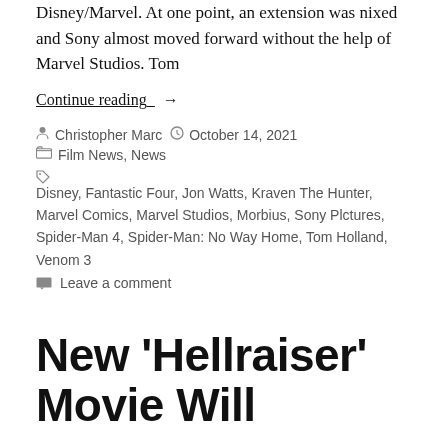Disney/Marvel. At one point, an extension was nixed and Sony almost moved forward without the help of Marvel Studios. Tom
Continue reading →
Christopher Marc   October 14, 2021
Film News, News
Disney, Fantastic Four, Jon Watts, Kraven The Hunter, Marvel Comics, Marvel Studios, Morbius, Sony Pictures, Spider-Man 4, Spider-Man: No Way Home, Tom Holland, Venom 3
Leave a comment
New 'Hellraiser' Movie Will